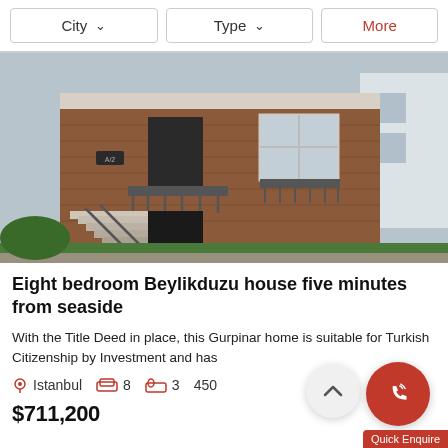City  ∨    Type  ∨    More
[Figure (photo): Exterior photo of a two-storey brick house with metal railings, external staircase, and windows, with greenery at the base]
Eight bedroom Beylikduzu house five minutes from seaside
With the Title Deed in place, this Gurpinar home is suitable for Turkish Citizenship by Investment and has
Istanbul   8   3   450   $711,200